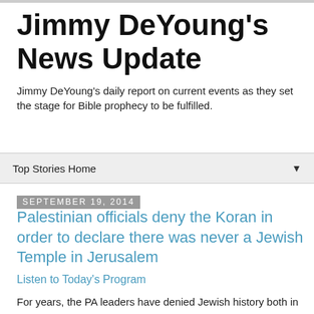Jimmy DeYoung's News Update
Jimmy DeYoung's daily report on current events as they set the stage for Bible prophecy to be fulfilled.
Top Stories Home
September 19, 2014
Palestinian officials deny the Koran in order to declare there was never a Jewish Temple in Jerusalem
Listen to Today's Program
For years, the PA leaders have denied Jewish history both in ancient Judea and Samaria and in Jerusalem in particular